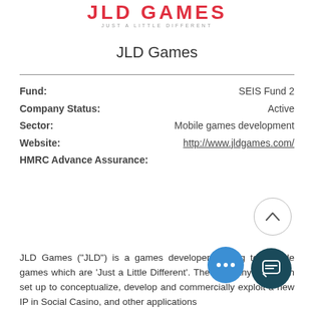[Figure (logo): JLD Games logo — red bold uppercase text 'JLD GAMES' with tagline 'JUST A LITTLE DIFFERENT' below]
JLD Games
| Field | Value |
| --- | --- |
| Fund: | SEIS Fund 2 |
| Company Status: | Active |
| Sector: | Mobile games development |
| Website: | http://www.jldgames.com/ |
| HMRC Advance Assurance: |  |
JLD Games ("JLD") is a games developer looking to provide games which are 'Just a Little Different'. The company has been set up to conceptualize, develop and commercially exploit a new IP in Social Casino, and other applications